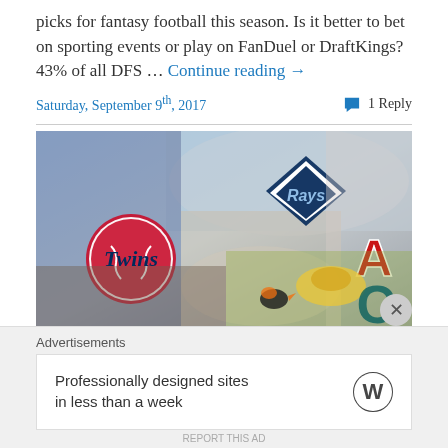picks for fantasy football this season. Is it better to bet on sporting events or play on FanDuel or DraftKings? 43% of all DFS … Continue reading →
Saturday, September 9th, 2017   1 Reply
[Figure (photo): A collage image featuring baseball team logos (Twins, Rays, Angels) overlaid on movie/illustration scenes including twin girls from a horror movie, an angel, a fisherman, and sports imagery.]
Advertisements
[Figure (other): WordPress advertisement banner: 'Professionally designed sites in less than a week' with WordPress logo]